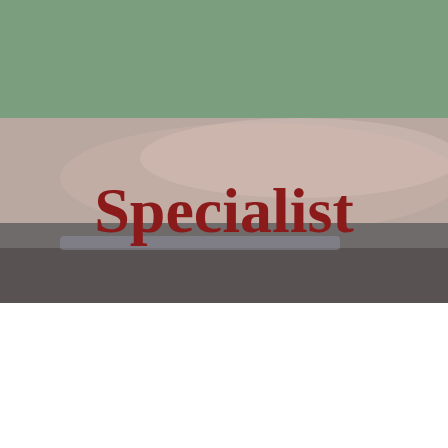[Figure (logo): Claire Sparrow logo with colorful autumn leaves and circular emblem on green navigation bar]
Specialist
Hi, I’m Claire Sparrow
I understand as a mum of three just how important it is to be able to run after your children freely without worry. I